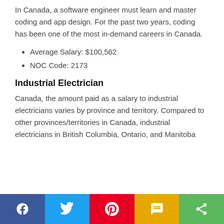In Canada, a software engineer must learn and master coding and app design. For the past two years, coding has been one of the most in-demand careers in Canada.
Average Salary: $100,562
NOC Code: 2173
Industrial Electrician
Canada, the amount paid as a salary to industrial electricians varies by province and territory. Compared to other provinces/territories in Canada, industrial electricians in British Columbia, Ontario, and Manitoba
Social share bar: Facebook, Twitter, Pinterest, SMS, Share